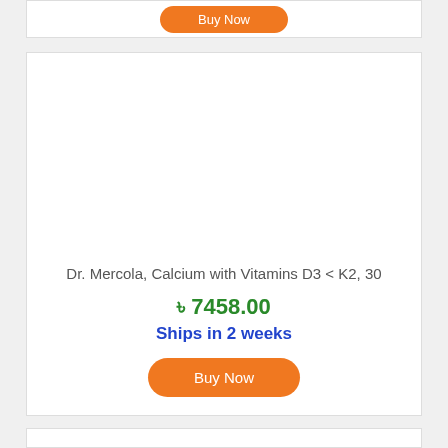[Figure (other): Partially visible product card with orange Buy Now button at top]
Dr. Mercola, Calcium with Vitamins D3 < K2, 30
৳ 7458.00
Ships in 2 weeks
[Figure (other): Orange Buy Now button]
[Figure (other): Partially visible product card at bottom]